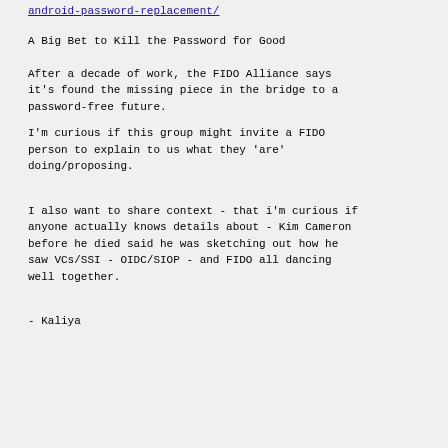android-password-replacement/
A Big Bet to Kill the Password for Good
After a decade of work, the FIDO Alliance says it's found the missing piece in the bridge to a password-free future.
I'm curious if this group might invite a FIDO person to explain to us what they 'are' doing/proposing.
I also want to share context - that i'm curious if anyone actually knows details about - Kim Cameron before he died said he was sketching out how he saw VCs/SSI - OIDC/SIOP - and FIDO all dancing well together.
- Kaliya